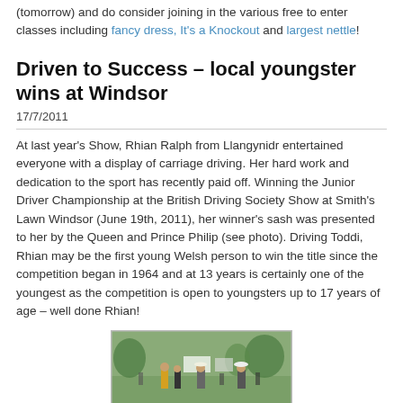(tomorrow) and do consider joining in the various free to enter classes including fancy dress, It's a Knockout and largest nettle!
Driven to Success – local youngster wins at Windsor
17/7/2011
At last year's Show, Rhian Ralph from Llangynidr entertained everyone with a display of carriage driving. Her hard work and dedication to the sport has recently paid off. Winning the Junior Driver Championship at the British Driving Society Show at Smith's Lawn Windsor (June 19th, 2011), her winner's sash was presented to her by the Queen and Prince Philip (see photo). Driving Toddi, Rhian may be the first young Welsh person to win the title since the competition began in 1964 and at 13 years is certainly one of the youngest as the competition is open to youngsters up to 17 years of age – well done Rhian!
[Figure (photo): Outdoor photograph showing a carriage driving event at Smith's Lawn Windsor, with people gathered on a green field.]